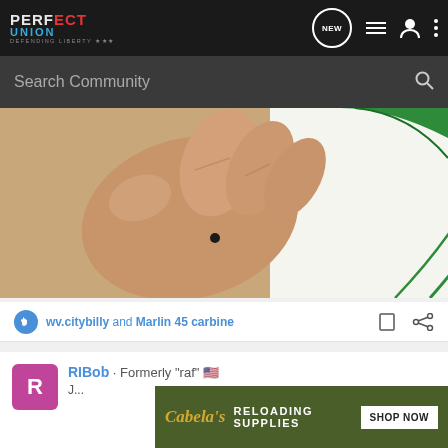Perfect Union - Defending Liberty - Community Forum Navigation
Search Community
[Figure (photo): Close-up photo of a hand holding a small object (appears to be a bullet or small projectile) against a target with green concentric circle lines on white background]
wv.citybilly and Marlin 45 carbine
RIBob · Formerly "raf" 🇺🇸
[Figure (photo): Cabela's advertisement banner: RELOADING SUPPLIES - SHOP NOW]